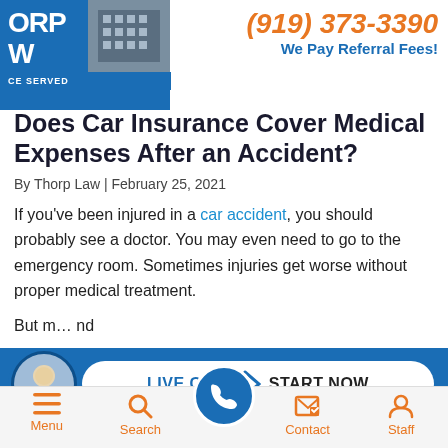(919) 373-3390
We Pay Referral Fees!
Does Car Insurance Cover Medical Expenses After an Accident?
By Thorp Law | February 25, 2021
If you've been injured in a car accident, you should probably see a doctor. You may even need to go to the emergency room. Sometimes injuries get worse without proper medical treatment.
But m[...] d
[Figure (infographic): Live Chat Start Now button bar with attorney avatar on blue background]
Menu | Search | (call button) | Contact | Staff